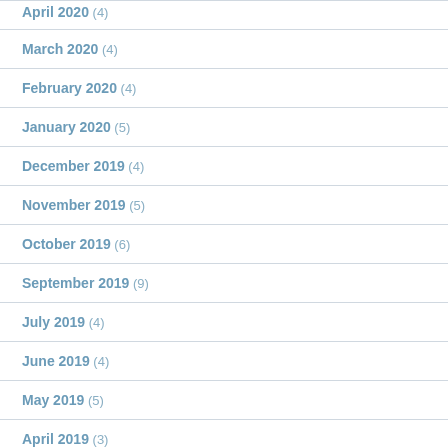April 2020 (4)
March 2020 (4)
February 2020 (4)
January 2020 (5)
December 2019 (4)
November 2019 (5)
October 2019 (6)
September 2019 (9)
July 2019 (4)
June 2019 (4)
May 2019 (5)
April 2019 (3)